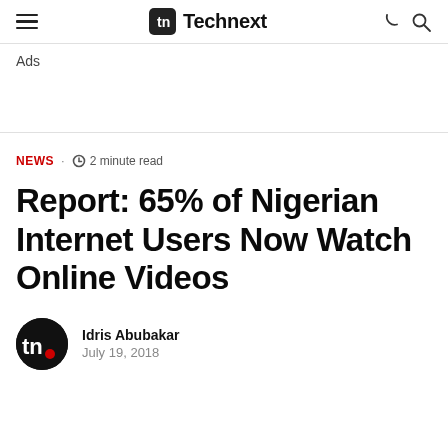Technext
Ads
NEWS · 2 minute read
Report: 65% of Nigerian Internet Users Now Watch Online Videos
Idris Abubakar
July 19, 2018